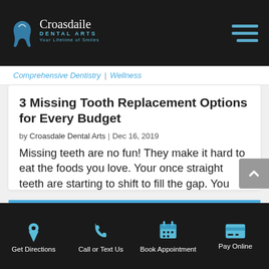Croasdale Dental Arts
Comprehensive Dentistry | ...
3 Missing Tooth Replacement Options for Every Budget
by Croasdale Dental Arts | Dec 16, 2019
Missing teeth are no fun! They make it hard to eat the foods you love. Your once straight teeth are starting to shift to fill the gap. You feel uncomfortable about being in photos because you're embarrassed about your smile. The good news: There is a variety of...
Get Directions | Call or Text Us | Book Appointment | Pay Online